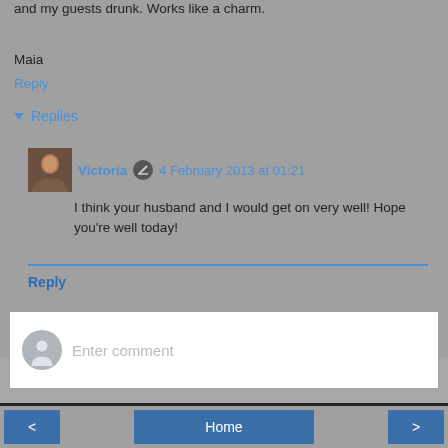and my guests drunk. Works like a charm.
Maia
Reply
▾ Replies
Victoria ✏ 4 February 2013 at 01:21
I think your husband and I would get on very well! Hope you're well today!
Reply
Enter comment
< Home >